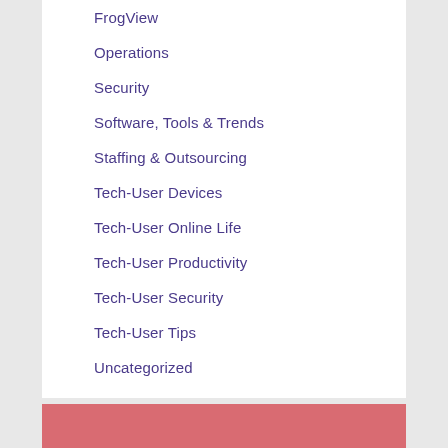FrogView
Operations
Security
Software, Tools & Trends
Staffing & Outsourcing
Tech-User Devices
Tech-User Online Life
Tech-User Productivity
Tech-User Security
Tech-User Tips
Uncategorized